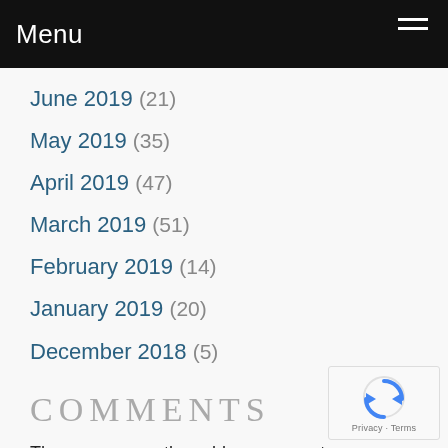Menu
June 2019 (21)
May 2019 (35)
April 2019 (47)
March 2019 (51)
February 2019 (14)
January 2019 (20)
December 2018 (5)
COMMENTS
There are currently no blog comments.